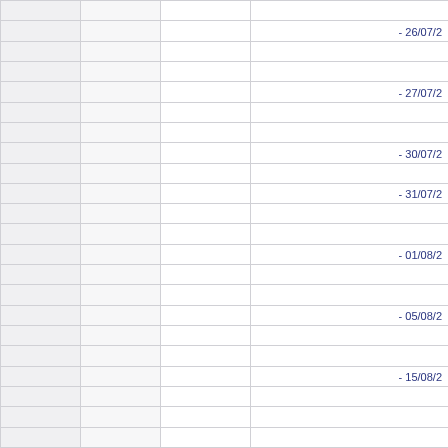|  |  |  | - 26/07/2 |
|  |  |  |  |
|  |  |  |  |
|  |  |  | - 27/07/2 |
|  |  |  |  |
|  |  |  |  |
|  |  |  | - 30/07/2 |
|  |  |  |  |
|  |  |  | - 31/07/2 |
|  |  |  |  |
|  |  |  |  |
|  |  |  | - 01/08/2 |
|  |  |  |  |
|  |  |  |  |
|  |  |  | - 05/08/2 |
|  |  |  |  |
|  |  |  |  |
|  |  |  | - 15/08/2 |
|  |  |  |  |
|  |  |  |  |